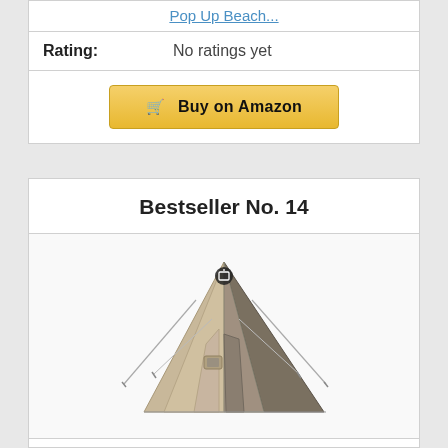Pop Up Beach...
Rating:    No ratings yet
[Figure (other): Buy on Amazon button with shopping cart icon]
Bestseller No. 14
[Figure (photo): OneTigris Rock Fortress Hot Tent - a large teepee/pyramid style camping tent in gray and beige tones with guy lines staked out]
OneTigris Rock Fortress Hot Tent with Stove Jack